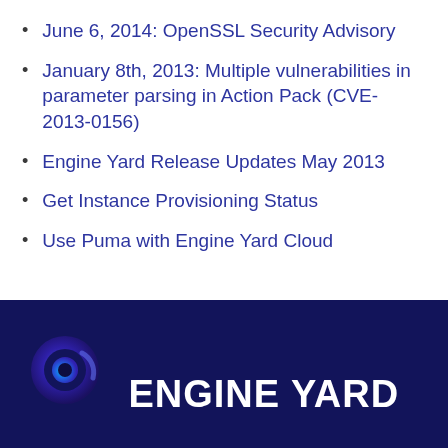June 6, 2014: OpenSSL Security Advisory
January 8th, 2013: Multiple vulnerabilities in parameter parsing in Action Pack (CVE-2013-0156)
Engine Yard Release Updates May 2013
Get Instance Provisioning Status
Use Puma with Engine Yard Cloud
[Figure (logo): Engine Yard logo: circular gradient icon (blue/purple) with white ENGINE YARD text on dark navy background]